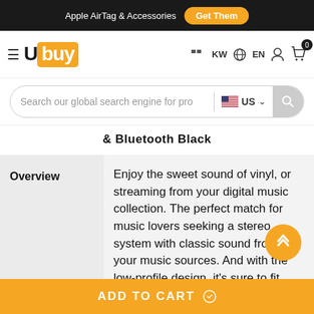Apple AirTag & Accessories  Get Them
[Figure (logo): Ubuy logo with hamburger menu, KW flag, EN language selector, user icon, and cart icon with 0 badge]
Search our global search engine for pro  US
& Bluetooth Black
Overview
Enjoy the sweet sound of vinyl, or streaming from your digital music collection. The perfect match for music lovers seeking a stereo system with classic sound from all your music sources. And with the low-profile design, it's sure to fit conventional AV cabinets. Power Requirement - AC 120 V 60 Hz.
ADD TO CART